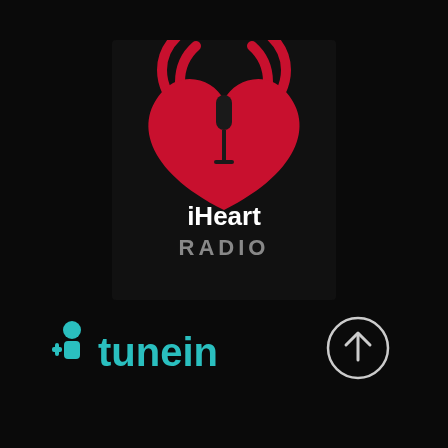[Figure (logo): iHeartRadio logo: black square background with a red heart shape containing radio wave signals and a microphone icon, white text 'iHeart' and gray text 'RADIO' below]
[Figure (logo): TuneIn logo: teal/turquoise plus-person icon followed by 'tunein' text in teal, with a circular arrow upload icon to the right]